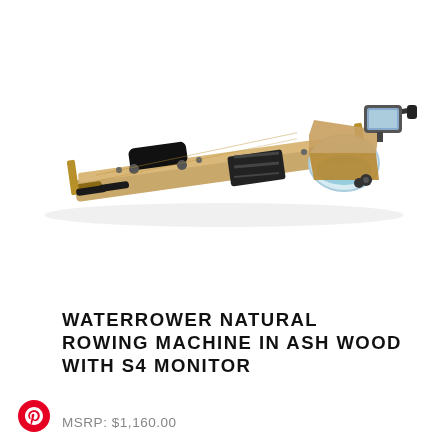[Figure (photo): A WaterRower Natural Rowing Machine in Ash Wood with S4 Monitor, shown at an angle on a white background. The machine has a long wooden frame with a sliding seat, foot rests with straps, handle bars, and a water tank/flywheel at the front with a digital monitor.]
WATERROWER NATURAL ROWING MACHINE IN ASH WOOD WITH S4 MONITOR
MSRP: $1,160.00